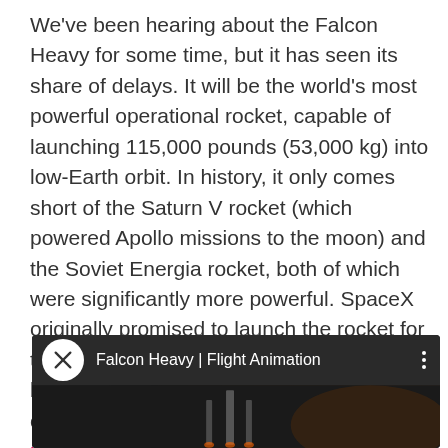We've been hearing about the Falcon Heavy for some time, but it has seen its share of delays. It will be the world's most powerful operational rocket, capable of launching 115,000 pounds (53,000 kg) into low-Earth orbit. In history, it only comes short of the Saturn V rocket (which powered Apollo missions to the moon) and the Soviet Energia rocket, both of which were significantly more powerful. SpaceX originally promised to launch the rocket for the first time in 2013. It was then pushed back to this year, but the project was put on ice following the failure of a Falcon 9 rocket on June 28th.
[Figure (screenshot): YouTube video thumbnail for 'Falcon Heavy | Flight Animation' showing a dark background with rocket silhouette and SpaceX logo icon]